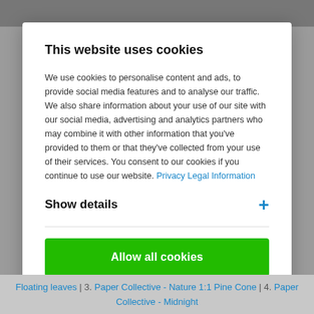This website uses cookies
We use cookies to personalise content and ads, to provide social media features and to analyse our traffic. We also share information about your use of our site with our social media, advertising and analytics partners who may combine it with other information that you've provided to them or that they've collected from your use of their services. You consent to our cookies if you continue to use our website. Privacy Legal Information
Show details
Allow all cookies
Floating leaves | 3. Paper Collective - Nature 1:1 Pine Cone | 4. Paper Collective - Midnight